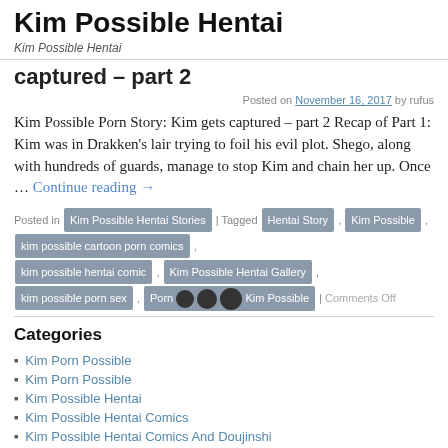Kim Possible Hentai
Kim Possible Hentai
captured – part 2
Posted on November 16, 2017 by rufus
Kim Possible Porn Story: Kim gets captured – part 2 Recap of Part 1: Kim was in Drakken's lair trying to foil his evil plot. Shego, along with hundreds of guards, manage to stop Kim and chain her up. Once … Continue reading →
Posted in Kim Possible Hentai Stories | Tagged Hentai Story , Kim Possible , kim possible cartoon porn comics , kim possible hentai comic , Kim Possible Hentai Gallery , kim possible porn sex , Porn [redacted] Stories Kim Possible | Comments Off
Categories
Kim Porn Possible
Kim Porn Possible
Kim Possible Hentai
Kim Possible Hentai Comics
Kim Possible Hentai Comics And Doujinshi
Kim Possible Hentai Pics